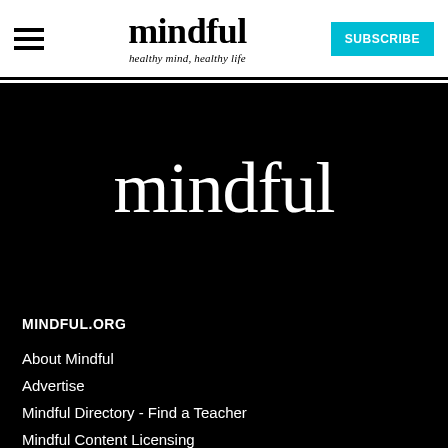mindful — healthy mind, healthy life | SUBSCRIBE
mindful
MINDFUL.ORG
About Mindful
Advertise
Mindful Directory - Find a Teacher
Mindful Content Licensing